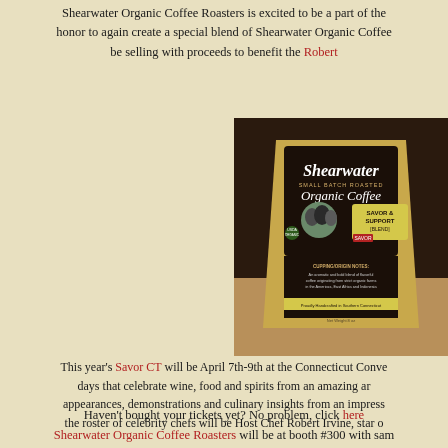Shearwater Organic Coffee Roasters is excited to be a part of the honor to again create a special blend of Shearwater Organic Coffee be selling with proceeds to benefit the Robert
[Figure (photo): A gold and dark brown coffee bag for Shearwater Small Batch Roasted Organic Coffee, featuring a 'Savor & Support Blend' label with a photo of people and certification logos.]
This year's Savor CT will be April 7th-9th at the Connecticut Convention Center. days that celebrate wine, food and spirits from an amazing array of appearances, demonstrations and culinary insights from an impressive array of the roster of celebrity chefs will be Host Chef Robert Irvine, star o
Haven't bought your tickets yet? No problem, click here
Shearwater Organic Coffee Roasters will be at booth #300 with sam